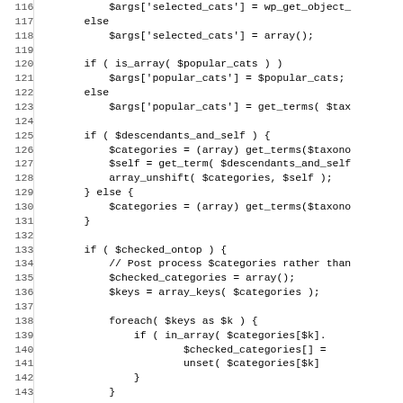[Figure (screenshot): Source code listing showing PHP code lines 116-147, with line numbers on the left and code on the right. The code handles category selection, popular cats, descendants, checked_ontop logic with foreach loop.]